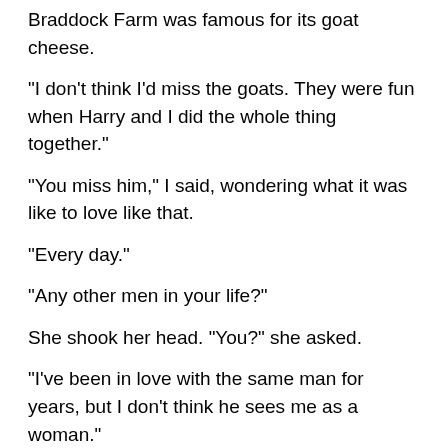Braddock Farm was famous for its goat cheese.
"I don’t think I’d miss the goats. They were fun when Harry and I did the whole thing together."
"You miss him," I said, wondering what it was like to love like that.
"Every day."
"Any other men in your life?"
She shook her head. "You?" she asked.
"I’ve been in love with the same man for years, but I don’t think he sees me as a woman."
"As what then?"
"A colleague."